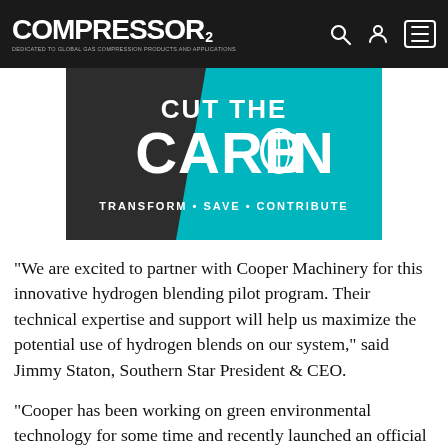COMPRESSOR TECH2 — DEDICATED TO GLOBAL GAS COMPRESSION PRODUCTS AND APPLICATIONS
[Figure (illustration): Dark and teal banner graphic reading 'CUT THE CARBON' with diagonal split design and tagline 'TRANSFORM • SAVE • CONTRIBUTE']
“We are excited to partner with Cooper Machinery for this innovative hydrogen blending pilot program. Their technical expertise and support will help us maximize the potential use of hydrogen blends on our system,” said Jimmy Staton, Southern Star President & CEO.
“Cooper has been working on green environmental technology for some time and recently launched an official corporate initiative,” said Cooper CEO, Jo...